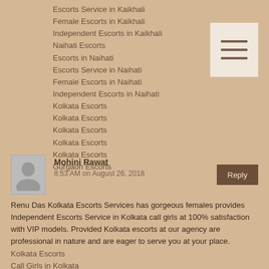Escorts Service in Kaikhali
Female Escorts in Kaikhali
Independent Escorts in Kaikhali
Naihati Escorts
Escorts in Naihati
Escorts Service in Naihati
Female Escorts in Naihati
Independent Escorts in Naihati
Kolkata Escorts
Kolkata Escorts
Kolkata Escorts
Kolkata Escorts
Kolkata Escorts
Gurgaon Escorts
Mohini Rawat
8:53 AM on August 26, 2018
Renu Das Kolkata Escorts Services has gorgeous females provides Independent Escorts Service in Kolkata call girls at 100% satisfaction with VIP models. Provided Kolkata escorts at our agency are professional in nature and are eager to serve you at your place.
Kolkata Escorts
Call Girls in Kolkata
Kolkata Escorts
Delhi Escorts